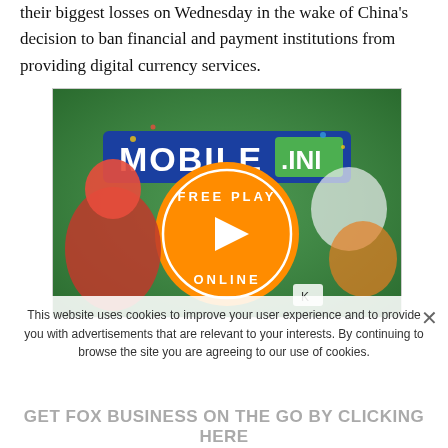their biggest losses on Wednesday in the wake of China's decision to ban financial and payment institutions from providing digital currency services.
[Figure (illustration): Mobile.ini advertisement banner with colorful game characters, a large orange 'FREE PLAY ONLINE' circle with play button, and assorted mobile game character illustrations on a green/colorful background.]
This website uses cookies to improve your user experience and to provide you with advertisements that are relevant to your interests. By continuing to browse the site you are agreeing to our use of cookies.
GET FOX BUSINESS ON THE GO BY CLICKING HERE